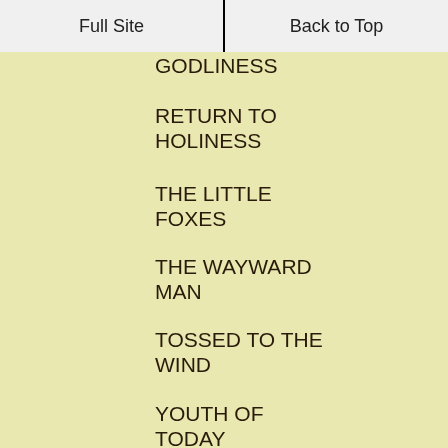Full Site | Back to Top
GODLINESS
RETURN TO HOLINESS
THE LITTLE FOXES
THE WAYWARD MAN
TOSSED TO THE WIND
YOUTH OF TODAY
SITE INFO
DISCLAIMER
PRIVACY POLICY